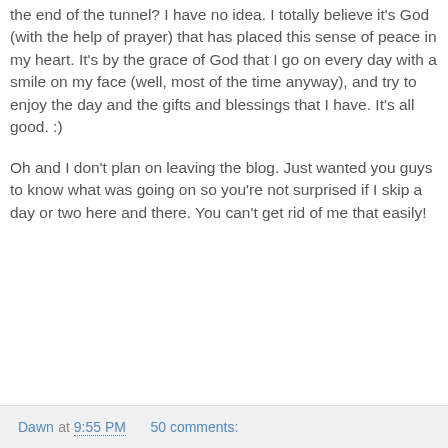the end of the tunnel? I have no idea. I totally believe it's God (with the help of prayer) that has placed this sense of peace in my heart. It's by the grace of God that I go on every day with a smile on my face (well, most of the time anyway), and try to enjoy the day and the gifts and blessings that I have. It's all good. :)

Oh and I don't plan on leaving the blog. Just wanted you guys to know what was going on so you're not surprised if I skip a day or two here and there. You can't get rid of me that easily!
Dawn at 9:55 PM   50 comments: